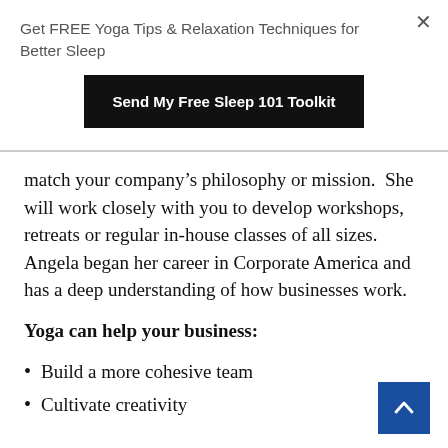Get FREE Yoga Tips & Relaxation Techniques for Better Sleep
Send My Free Sleep 101 Toolkit
match your company's philosophy or mission. She will work closely with you to develop workshops, retreats or regular in-house classes of all sizes. Angela began her career in Corporate America and has a deep understanding of how businesses work.
Yoga can help your business:
Build a more cohesive team
Cultivate creativity